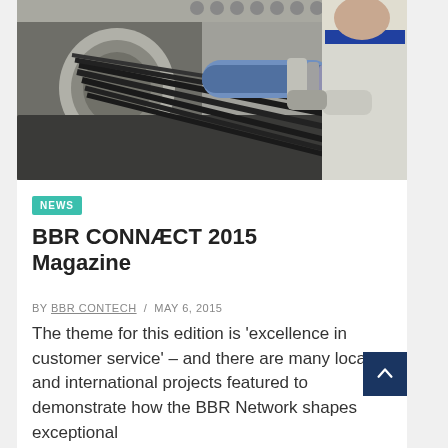[Figure (photo): Industrial engineering photo showing a worker in white overalls handling a large cable/strand bundle being fed through a metal anchor or coupling device, with multiple strands splaying out from a cylindrical housing. The worker is partly visible on the right side. Industrial machinery background.]
NEWS
BBR CONNÆCT 2015 Magazine
BY BBR CONTECH / MAY 6, 2015
The theme for this edition is 'excellence in customer service' – and there are many local and international projects featured to demonstrate how the BBR Network shapes exceptional